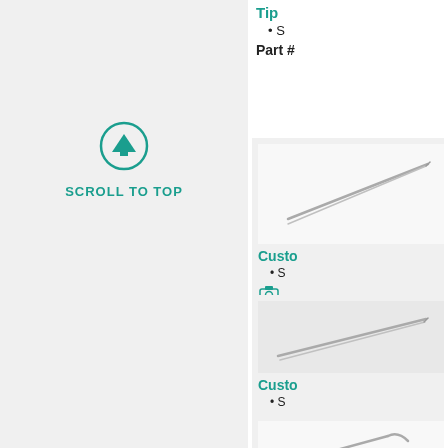Tip
S
Part #
[Figure (photo): Tweezers product image - straight fine tip tweezers on white/light background]
Custo
S
Part #
[Figure (photo): Tweezers product image - straight fine tip tweezers on gray background]
Custo
S
Part #
[Figure (photo): Tweezers product image - angled/curved tip tweezers on white background]
Custo
S
SCROLL TO TOP